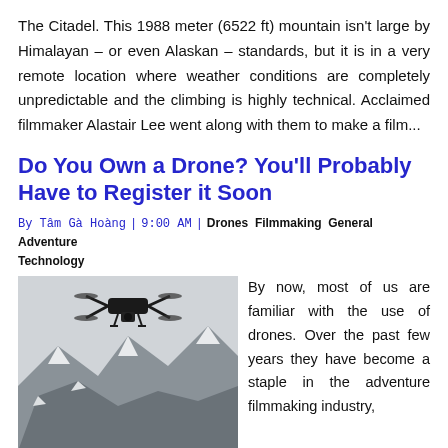The Citadel. This 1988 meter (6522 ft) mountain isn't large by Himalayan – or even Alaskan – standards, but it is in a very remote location where weather conditions are completely unpredictable and the climbing is highly technical. Acclaimed filmmaker Alastair Lee went along with them to make a film...
Do You Own a Drone? You'll Probably Have to Register it Soon
By Tâm Gà Hoàng | 9:00 AM | Drones, Filmmaking, General Adventure, Technology
[Figure (photo): Black and white photo of a drone flying over a mountainous snowy landscape]
By now, most of us are familiar with the use of drones. Over the past few years they have become a staple in the adventure filmmaking industry, allowing both professionals and amateurs alike to capture fantastic footage that simply wasn't possible in the past. In